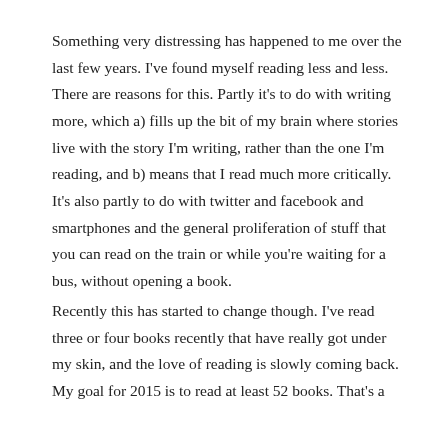Something very distressing has happened to me over the last few years. I've found myself reading less and less. There are reasons for this. Partly it's to do with writing more, which a) fills up the bit of my brain where stories live with the story I'm writing, rather than the one I'm reading, and b) means that I read much more critically. It's also partly to do with twitter and facebook and smartphones and the general proliferation of stuff that you can read on the train or while you're waiting for a bus, without opening a book.
Recently this has started to change though. I've read three or four books recently that have really got under my skin, and the love of reading is slowly coming back. My goal for 2015 is to read at least 52 books. That's a